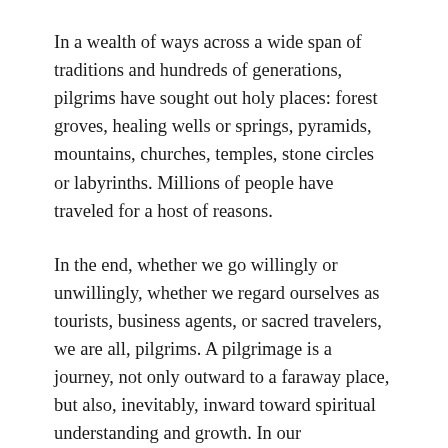In a wealth of ways across a wide span of traditions and hundreds of generations, pilgrims have sought out holy places: forest groves, healing wells or springs, pyramids, mountains, churches, temples, stone circles or labyrinths. Millions of people have traveled for a host of reasons.
In the end, whether we go willingly or unwillingly, whether we regard ourselves as tourists, business agents, or sacred travelers, we are all, pilgrims. A pilgrimage is a journey, not only outward to a faraway place, but also, inevitably, inward toward spiritual understanding and growth. In our